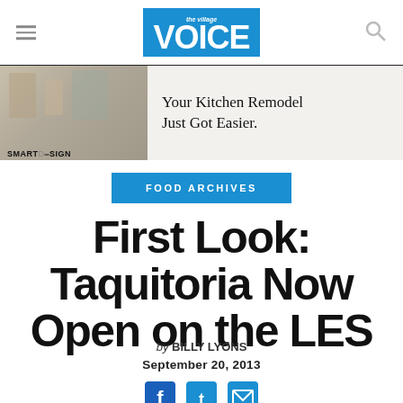the Village VOICE
[Figure (illustration): Advertisement banner: SMARTDESIGN - Your Kitchen Remodel Just Got Easier.]
FOOD ARCHIVES
First Look: Taquitoria Now Open on the LES
by BILLY LYONS
September 20, 2013
[Figure (infographic): Social share icons: Facebook, Twitter, Email]